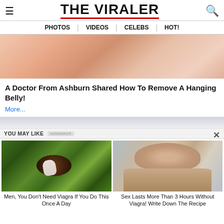THE VIRALER
PHOTOS | VIDEOS | CELEBS | HOT!
[Figure (photo): Close-up image of a person's abdomen/belly area, skin tones with pinkish hues]
A Doctor From Ashburn Shared How To Remove A Hanging Belly!
More...
YOU MAY LIKE
[Figure (photo): Close-up of an avocado with a white spoon or seed, dark green textured surface]
Men, You Don't Need Viagra If You Do This Once A Day
[Figure (photo): Middle-aged blonde woman smiling, touching her shoulder, blurred background]
Sex Lasts More Than 3 Hours Without Viagra! Write Down The Recipe